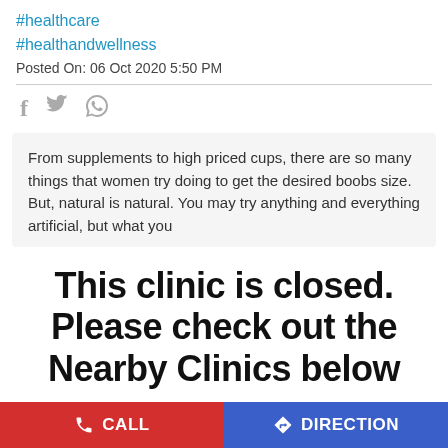#healthcare
#healthandwellness
Posted On: 06 Oct 2020 5:50 PM
[Figure (other): Social share icons: Facebook, Twitter, WhatsApp]
From supplements to high priced cups, there are so many things that women try doing to get the desired boobs size. But, natural is natural. You may try anything and everything artificial, but what you
This clinic is closed. Please check out the Nearby Clinics below
#health
#wellness
#femalehealth
CALL   DIRECTION